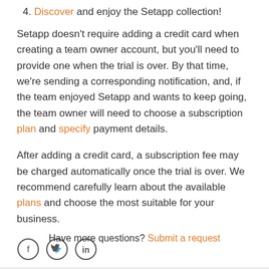4. Discover and enjoy the Setapp collection!
Setapp doesn't require adding a credit card when creating a team owner account, but you'll need to provide one when the trial is over. By that time, we're sending a corresponding notification, and, if the team enjoyed Setapp and wants to keep going, the team owner will need to choose a subscription plan and specify payment details.
After adding a credit card, a subscription fee may be charged automatically once the trial is over. We recommend carefully learn about the available plans and choose the most suitable for your business.
[Figure (other): Social media icons: Facebook, Twitter, LinkedIn in circles]
Have more questions? Submit a request